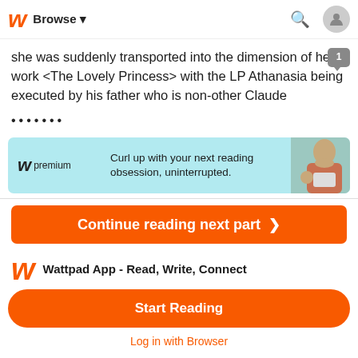W Browse
she was suddenly transported into the dimension of her work <The Lovely Princess> with the LP Athanasia being executed by his father who is non-other Claude
.......
[Figure (infographic): Wattpad premium advertisement banner: light blue background with Wattpad W logo, 'premium' text, and the message 'Curl up with your next reading obsession, uninterrupted.' with a person reading on the right side.]
Continue reading next part >
Wattpad App - Read, Write, Connect
Start Reading
Log in with Browser